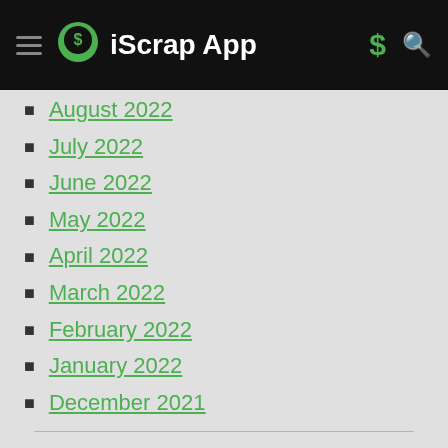iScrap App
August 2022
July 2022
June 2022
May 2022
April 2022
March 2022
February 2022
January 2022
December 2021